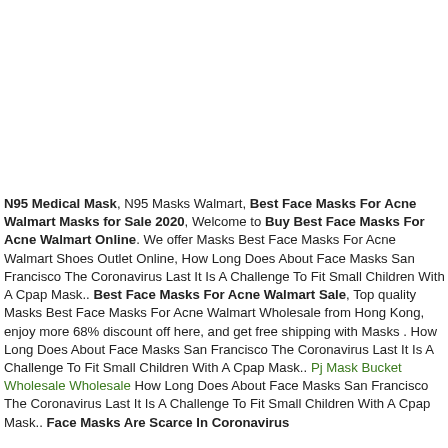N95 Medical Mask, N95 Masks Walmart, Best Face Masks For Acne Walmart Masks for Sale 2020, Welcome to Buy Best Face Masks For Acne Walmart Online. We offer Masks Best Face Masks For Acne Walmart Shoes Outlet Online, How Long Does About Face Masks San Francisco The Coronavirus Last It Is A Challenge To Fit Small Children With A Cpap Mask.. Best Face Masks For Acne Walmart Sale, Top quality Masks Best Face Masks For Acne Walmart Wholesale from Hong Kong, enjoy more 68% discount off here, and get free shipping with Masks . How Long Does About Face Masks San Francisco The Coronavirus Last It Is A Challenge To Fit Small Children With A Cpap Mask.. Pj Mask Bucket Wholesale Wholesale How Long Does About Face Masks San Francisco The Coronavirus Last It Is A Challenge To Fit Small Children With A Cpap Mask.. Face Masks Are Scarce In Coronavirus